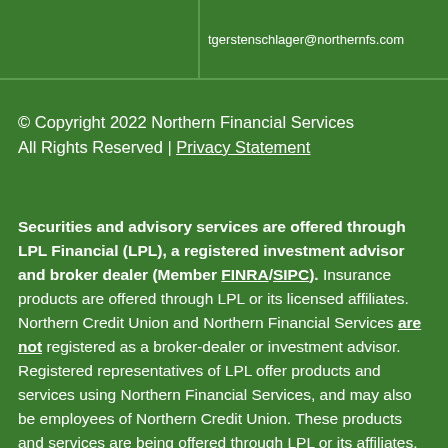tgerstenschlager@northernfs.com
© Copyright 2022 Northern Financial Services
All Rights Reserved | Privacy Statement
Securities and advisory services are offered through LPL Financial (LPL), a registered investment advisor and broker dealer (Member FINRA/SIPC). Insurance products are offered through LPL or its licensed affiliates. Northern Credit Union and Northern Financial Services are not registered as a broker-dealer or investment advisor. Registered representatives of LPL offer products and services using Northern Financial Services, and may also be employees of Northern Credit Union. These products and services are being offered through LPL or its affiliates, which